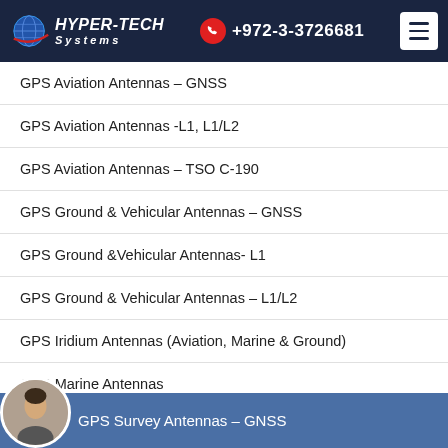HYPER-TECH Systems | +972-3-3726681
GPS Aviation Antennas – GNSS
GPS Aviation Antennas -L1, L1/L2
GPS Aviation Antennas – TSO C-190
GPS Ground & Vehicular Antennas – GNSS
GPS Ground &Vehicular Antennas- L1
GPS Ground & Vehicular Antennas – L1/L2
GPS Iridium Antennas (Aviation, Marine & Ground)
GPS Marine Antennas
GPS Survey Antennas – GNSS